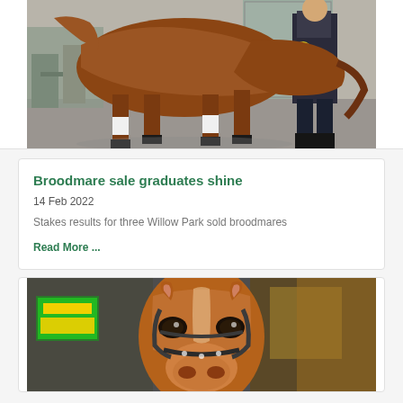[Figure (photo): A brown horse walking in a stable/auction area, with a person in dark clothing and a yellow badge walking alongside it. Various equipment visible in the background.]
Broodmare sale graduates shine
14 Feb 2022
Stakes results for three Willow Park sold broodmares
Read More ...
[Figure (photo): A chestnut horse facing the camera in what appears to be a sale barn or stable environment, with blurred green and yellow signage in the background.]